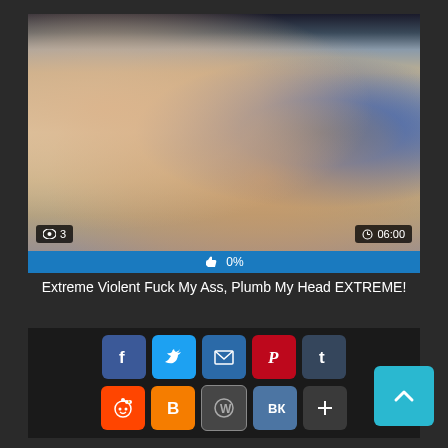[Figure (screenshot): Video thumbnail showing persons, duration badge '06:00', view count badge '3']
👁 3   🕐 06:00   👍 0%
Extreme Violent Fuck My Ass, Plumb My Head EXTREME!
[Figure (infographic): Social media share buttons: Facebook, Twitter, Email, Pinterest, Tumblr (row 1); Reddit, Blogger, WordPress, VK, More (row 2); scroll-to-top button on right]